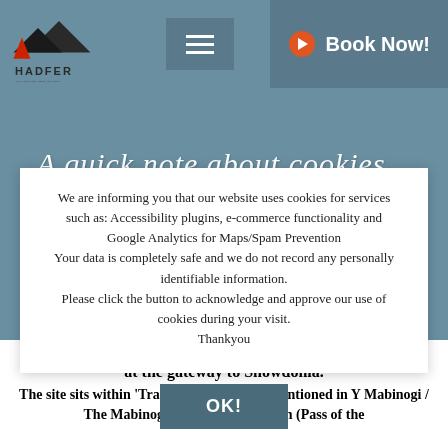Hadfer — navigation bar with logo, hamburger menu, Book Now button
A quick note about cookies...
We are informing you that our website uses cookies for services such as: Accessibility plugins, e-commerce functionality and Google Analytics for Maps/Spam Prevention
Your data is completely safe and we do not record any personally identifiable information.
Please click the button to acknowledge and approve our use of cookies during your visit.
Thankyou
OK!
at the gateway to Snowdonia.
The site sits within 'Traeth Mawr', that is mentioned in Y Mabinogi / The Mabinogion, at Bwlch Y Moch (Pass of the